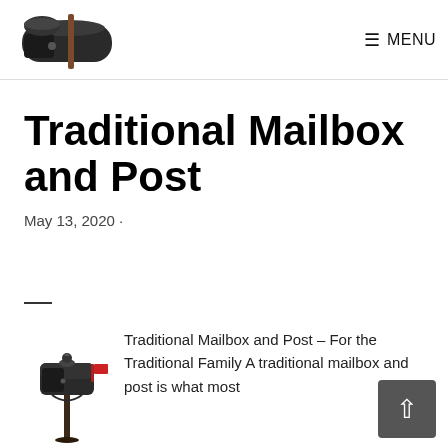MENU
Traditional Mailbox and Post
May 13, 2020 ·
—
[Figure (photo): Small traditional black mailbox on a decorative post with a red flag]
Traditional Mailbox and Post – For the Traditional Family A traditional mailbox and post is what most